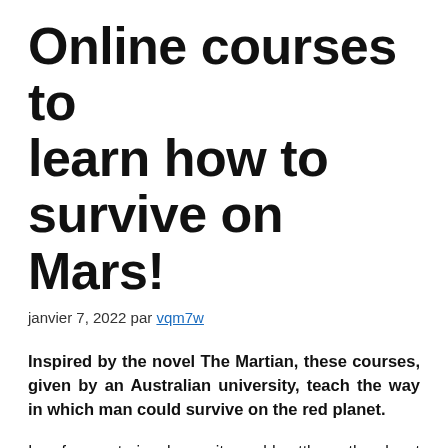Online courses to learn how to survive on Mars!
janvier 7, 2022 par vqm7w
Inspired by the novel The Martian, these courses, given by an Australian university, teach the way in which man could survive on the red planet.
In a few centuries, humanity could settle on the planet Mars. In order to become familiar with the idea of surviving it, Monash University located in Melbourne (Australia)